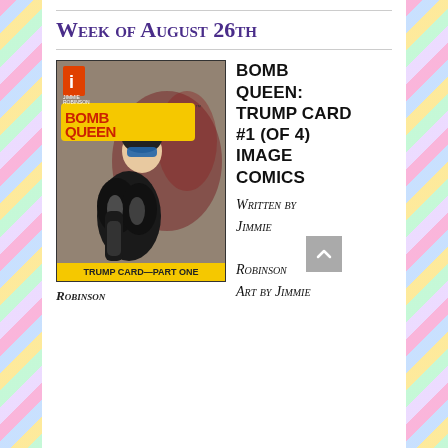Week of August 26th
[Figure (illustration): Comic book cover for Bomb Queen: Trump Card #1 (of 4) by Image Comics. Shows a female character in black leather outfit with yellow title text 'Bomb Queen' at top, Image Comics logo, creators listed as Jimmie Robinson. Bottom text reads 'TRUMP CARD—PART ONE'.]
Robinson
BOMB QUEEN: TRUMP CARD #1 (OF 4) IMAGE COMICS Written by Jimmie Robinson Art by Jimmie